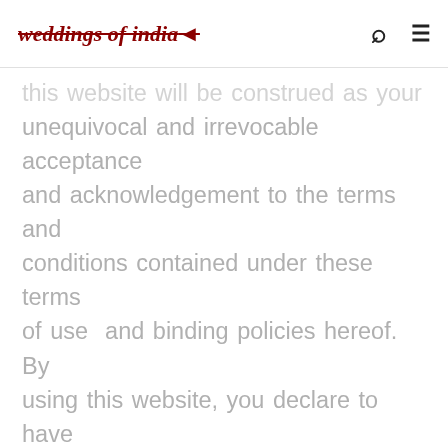weddings of india
this website will be construed as your unequivocal and irrevocable acceptance and acknowledgement to the terms and conditions contained under these terms of use  and binding policies hereof. By using this website, you declare to have carefully read, understood and agree to be bound by these terms of use. Titan may at its sole discretion allow or disallow access to this website or any other affiliated websites and reserves the right to change any of the terms and conditions contained herein at any point in time. It is your responsibility to periodically review these terms of use, any update and changes and your